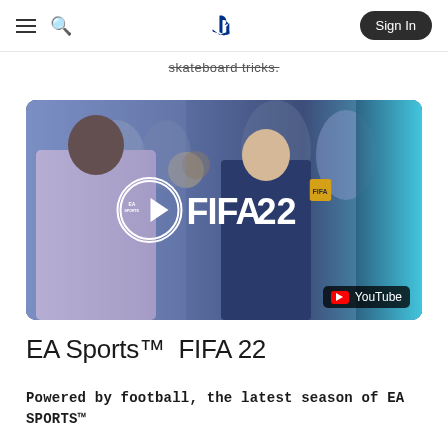PlayStation navigation bar with hamburger menu, search icon, PlayStation logo, and Sign In button
skateboard tricks.
[Figure (screenshot): YouTube video thumbnail for EA Sports FIFA 22 showing two men in a crowd scene with a play button overlay and FIFA 22 logo. YouTube badge in bottom right corner.]
EA Sports™ FIFA 22
Powered by football, the latest season of EA SPORTS™